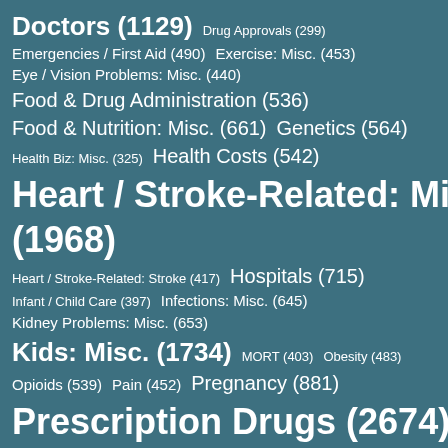[Figure (infographic): Tag cloud / word cloud showing medical health topics with counts in parentheses. Items appear in various font sizes proportional to their counts on a teal/steel-blue background. Topics include: Doctors (1129), Drug Approvals (299), Emergencies / First Aid (490), Exercise: Misc. (453), Eye / Vision Problems: Misc. (440), Food & Drug Administration (536), Food & Nutrition: Misc. (661), Genetics (564), Health Biz: Misc. (325), Health Costs (542), Heart / Stroke-Related: Misc. (1968), Heart / Stroke-Related: Stroke (417), Hospitals (715), Infant / Child Care (397), Infections: Misc. (645), Kidney Problems: Misc. (653), Kids: Misc. (1734), MORT (403), Obesity (483), Opioids (539), Pain (452), Pregnancy (881), Prescription Drugs (2674)]